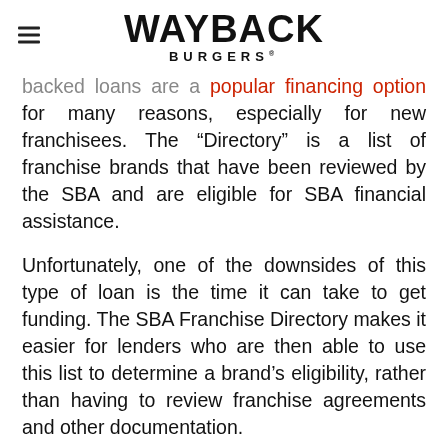WAYBACK BURGERS
backed loans are a popular financing option for many reasons, especially for new franchisees. The “Directory” is a list of franchise brands that have been reviewed by the SBA and are eligible for SBA financial assistance.
Unfortunately, one of the downsides of this type of loan is the time it can take to get funding. The SBA Franchise Directory makes it easier for lenders who are then able to use this list to determine a brand’s eligibility, rather than having to review franchise agreements and other documentation.